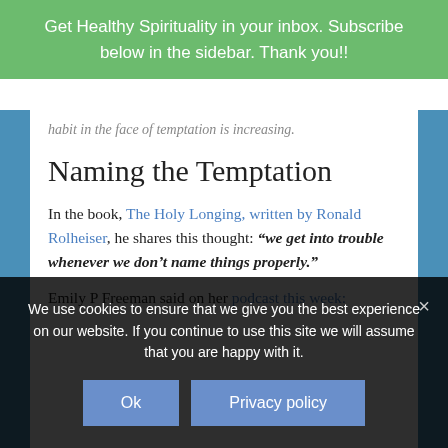Get Healthy Spirituality in your inbox. Subscribe below in the sidebar. Thank you!!
habit in the face of temptation is increasing.
Naming the Temptation
In the book, The Holy Longing, written by Ronald Rolheiser, he shares this thought: “we get into trouble whenever we don’t name things properly.”
Emily P Freeman said on her podcast this week:
We use cookies to ensure that we give you the best experience on our website. If you continue to use this site we will assume that you are happy with it.
Ok
Privacy policy